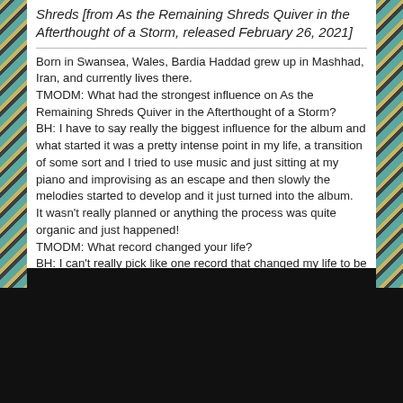Shreds [from As the Remaining Shreds Quiver in the Afterthought of a Storm, released February 26, 2021]
Born in Swansea, Wales, Bardia Haddad grew up in Mashhad, Iran, and currently lives there.
TMODM: What had the strongest influence on As the Remaining Shreds Quiver in the Afterthought of a Storm?
BH: I have to say really the biggest influence for the album and what started it was a pretty intense point in my life, a transition of some sort and I tried to use music and just sitting at my piano and improvising as an escape and then slowly the melodies started to develop and it just turned into the album.
It wasn't really planned or anything the process was quite organic and just happened!
TMODM: What record changed your life?
BH: I can't really pick like one record that changed my life to be honest. But I guess can name a few. For the atmospheric stuff I say Jahreszeiten by Nargaroth just blew me away with the way it captured each season's feel in the songs.
dej.khim's profile picture
TMODM: What's next for you?
BH: Well this is it...
dej.khim's profile picture
TMODM: What's next for you?
BH: Well this is it...